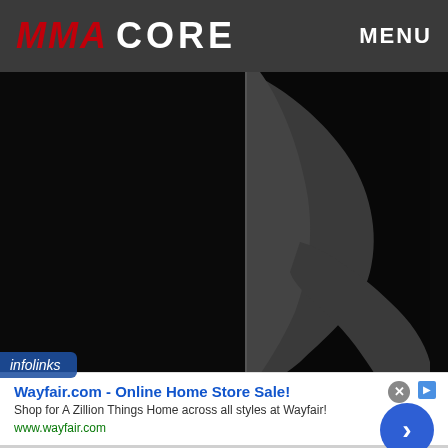MMA CORE   MENU
[Figure (photo): Dark silhouette of a person against a dark background, website screenshot from MMACore]
infolinks
Wayfair.com - Online Home Store Sale!
Shop for A Zillion Things Home across all styles at Wayfair!
www.wayfair.com